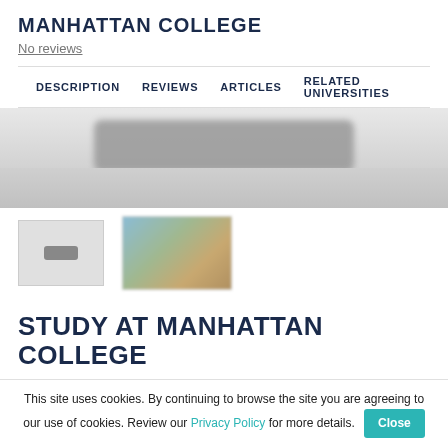MANHATTAN COLLEGE
No reviews
DESCRIPTION   REVIEWS   ARTICLES   RELATED UNIVERSITIES
[Figure (photo): Hero image of Manhattan College campus, blurred/partially visible, gray tones with a dark rounded bar element]
[Figure (photo): Two thumbnail images: first is a light gray box with a small dark icon, second is a blurred outdoor/campus photo with blue sky and earth tones]
STUDY AT MANHATTAN COLLEGE
MANHATTAN COLLEGE RATINGS AND DESCRIPTION
This site uses cookies. By continuing to browse the site you are agreeing to our use of cookies. Review our Privacy Policy for more details.